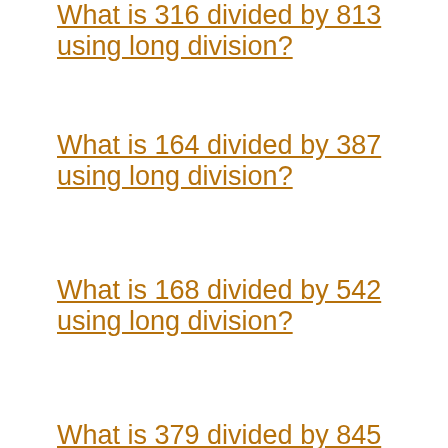What is 316 divided by 813 using long division?
What is 164 divided by 387 using long division?
What is 168 divided by 542 using long division?
What is 379 divided by 845 using long division?
What is 503 divided by 814 using long division?
What is 67 divided by 269 using long division?